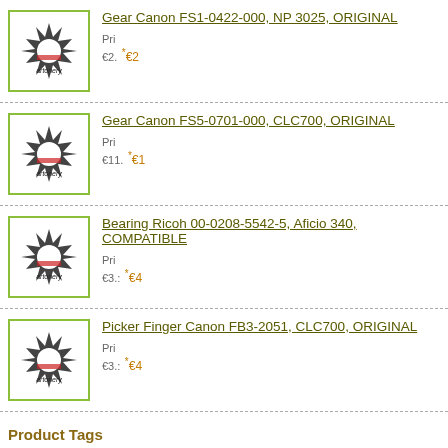Gear Canon FS1-0422-000, NP 3025, ORIGINAL
Gear Canon FS5-0701-000, CLC700, ORIGINAL
Bearing Ricoh 00-0208-5542-5, Aficio 340, COMPATIBLE
Picker Finger Canon FB3-2051, CLC700, ORIGINAL
Product Tags
Add Your Tags:
Use spaces to separate tags. Use single quotes (') for phrases.